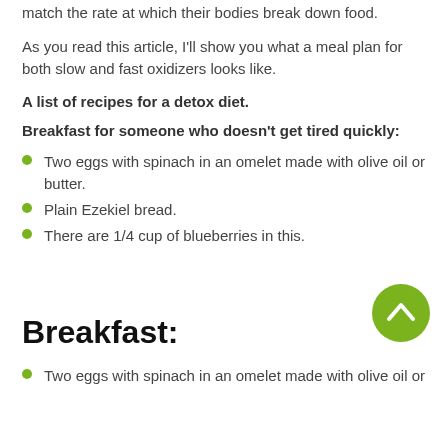match the rate at which their bodies break down food.
As you read this article, I'll show you what a meal plan for both slow and fast oxidizers looks like.
A list of recipes for a detox diet.
Breakfast for someone who doesn't get tired quickly:
Two eggs with spinach in an omelet made with olive oil or butter.
Plain Ezekiel bread.
There are 1/4 cup of blueberries in this.
Breakfast:
Two eggs with spinach in an omelet made with olive oil or